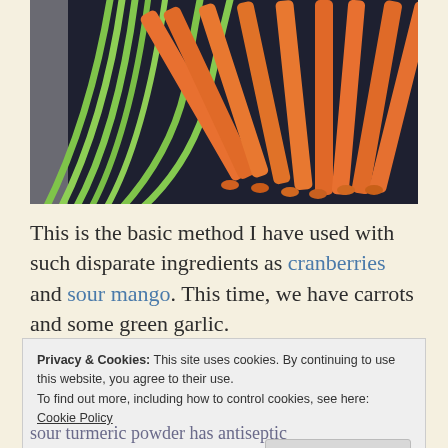[Figure (photo): Photo of green garlic stalks and orange carrots laid out on a dark cloth background.]
This is the basic method I have used with such disparate ingredients as cranberries and sour mango. This time, we have carrots and some green garlic.
Privacy & Cookies: This site uses cookies. By continuing to use this website, you agree to their use.
To find out more, including how to control cookies, see here: Cookie Policy
Close and accept
sour turmeric powder has antiseptic